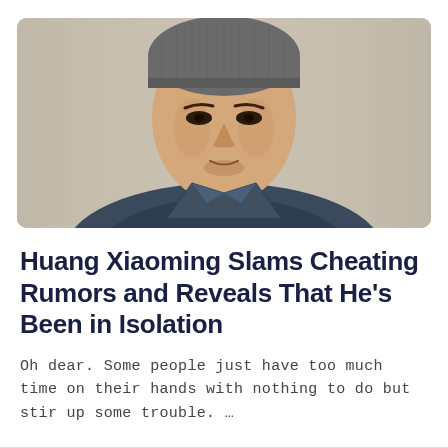[Figure (photo): Close-up portrait of a young East Asian man wearing a gray knit beanie hat and a denim jacket, looking directly at the camera with a neutral expression. The background is a muted beige/gray.]
Huang Xiaoming Slams Cheating Rumors and Reveals That He’s Been in Isolation
Oh dear. Some people just have too much time on their hands with nothing to do but stir up some trouble. …